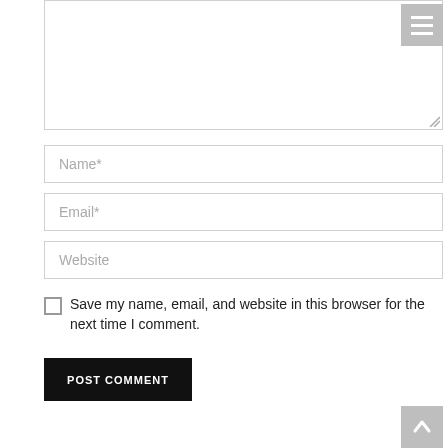[Figure (screenshot): Textarea input box (comment field) at the top of the page, mostly empty with a resize handle at bottom-right corner]
Name*
Email*
Website
Save my name, email, and website in this browser for the next time I comment.
POST COMMENT
[Figure (other): Hamburger menu icon button (three horizontal white lines on gray background) in the top-right corner]
[Figure (other): Up-arrow scroll-to-top button (white arrow on gray background) in the bottom-right corner]